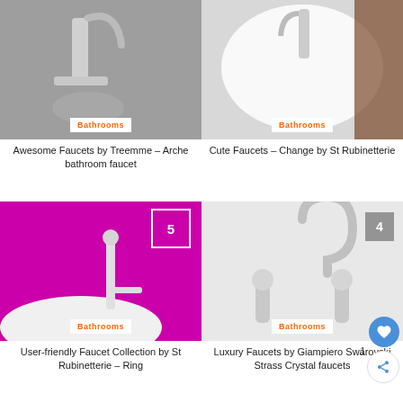[Figure (photo): Photo of a faucet on gray/silver background - Treemme Arche bathroom faucet]
Bathrooms
Awesome Faucets by Treemme – Arche bathroom faucet
[Figure (photo): Photo of a round white basin and faucet - Cute Faucets Change by St Rubinetterie]
Bathrooms
Cute Faucets – Change by St Rubinetterie
[Figure (photo): Faucet on magenta/pink background - User-friendly Faucet Collection by St Rubinetterie Ring, rank 5]
Bathrooms
User-friendly Faucet Collection by St Rubinetterie – Ring
[Figure (photo): Chrome faucet with crystal ball handles on white background - Luxury Faucets by Giampiero Swarovski Strass Crystal faucets, rank 4]
Bathrooms
Luxury Faucets by Giampiero Swarovski Strass Crystal faucets